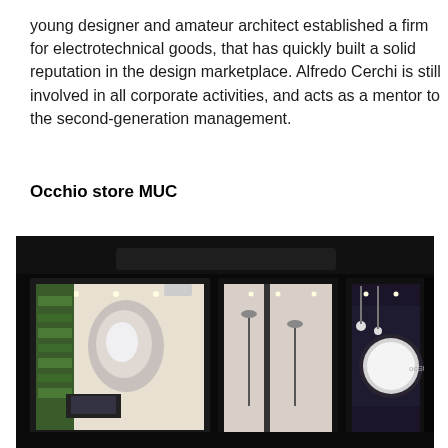young designer and amateur architect established a firm for electrotechnical goods, that has quickly built a solid reputation in the design marketplace. Alfredo Cerchi is still involved in all corporate activities, and acts as a mentor to the second-generation management.
Occhio store MUC
[Figure (photo): Night exterior photograph of the Occhio store MUC showing three illuminated display windows against a dark facade. Left window shows a lit interior with greenery and a glowing oval display. Center shows the glass entrance doors with floor lamps. Right window shows a dark interior with a large circular moon-like lamp display.]